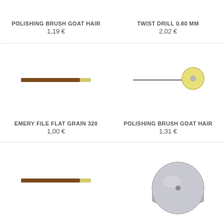POLISHING BRUSH GOAT HAIR
1,19 €
TWIST DRILL 0.80 MM
2,02 €
[Figure (illustration): Emery file flat grain tool - brown and yellow flat stick]
[Figure (illustration): Polishing brush goat hair - circular yellow disc on metal rod]
EMERY FILE FLAT GRAIN 320
1,00 €
POLISHING BRUSH GOAT HAIR
1,31 €
[Figure (illustration): Emery file flat grain tool - brown and yellow flat stick]
[Figure (illustration): Circular metal disc with center hole]